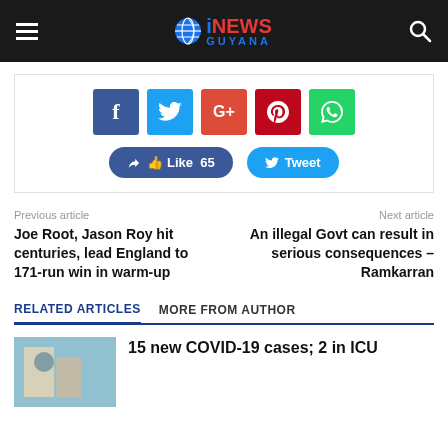iNEWS GUYANA
[Figure (screenshot): Social share buttons: Facebook, Twitter, Google+, Pinterest, WhatsApp, Like 65, Tweet]
Previous article
Joe Root, Jason Roy hit centuries, lead England to 171-run win in warm-up
Next article
An illegal Govt can result in serious consequences – Ramkarran
RELATED ARTICLES   MORE FROM AUTHOR
15 new COVID-19 cases; 2 in ICU